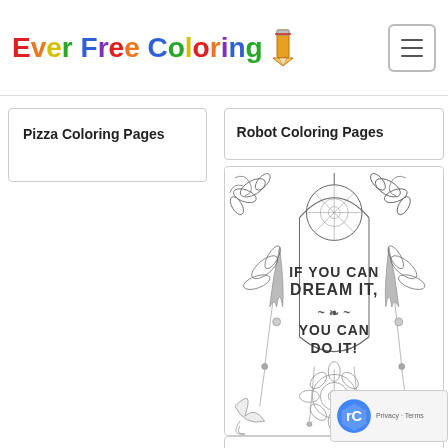[Figure (logo): Ever Free Coloring logo with rainbow-colored text and pencil icon]
Pizza Coloring Pages
Robot Coloring Pages
[Figure (illustration): Coloring page with dreamcatcher, floral border, and motivational text: IF YOU CAN DREAM IT, YOU CAN DO IT!]
Quote Coloring Page